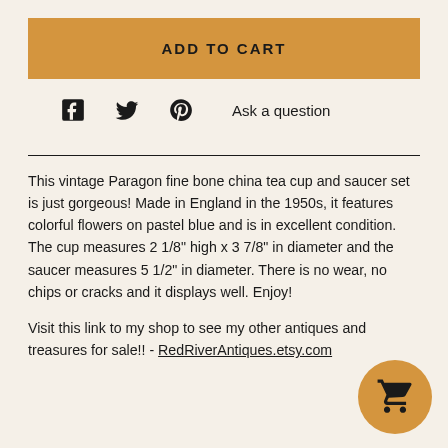ADD TO CART
Ask a question
This vintage Paragon fine bone china tea cup and saucer set is just gorgeous! Made in England in the 1950s, it features colorful flowers on pastel blue and is in excellent condition. The cup measures 2 1/8" high x 3 7/8" in diameter and the saucer measures 5 1/2" in diameter. There is no wear, no chips or cracks and it displays well. Enjoy!
Visit this link to my shop to see my other antiques and treasures for sale!! - RedRiverAntiques.etsy.com